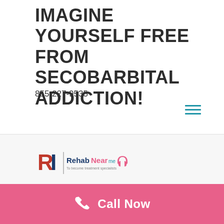IMAGINE YOURSELF FREE FROM SECOBARBITAL ADDICTION!
855-227-9535
[Figure (logo): RehabNear.me logo with stylized RI monogram in red/blue and headphones icon]
Call Now